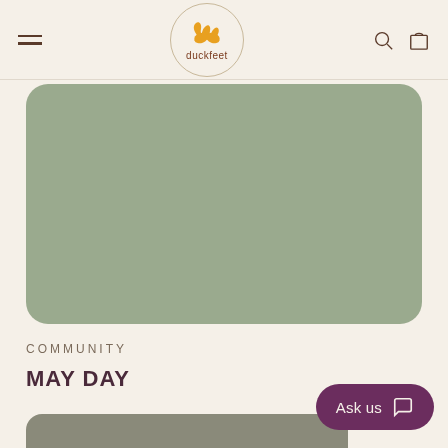duckfeet
[Figure (illustration): Solid sage green rounded rectangle card, partially cropped at top]
COMMUNITY
MAY DAY
[Figure (illustration): Solid gray-green rounded rectangle card, partially visible at bottom]
Ask us